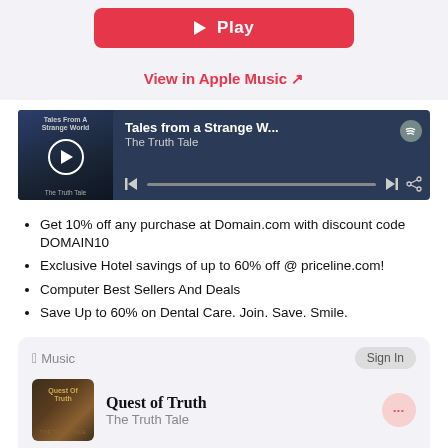[Figure (screenshot): Red Play button for Apple Music]
View in Apple Music ↗
[Figure (screenshot): Spotify widget showing 'Tales from a Strange W...' by The Truth Tale with album art, play controls, and progress bar]
Get 10% off any purchase at Domain.com with discount code DOMAIN10
Exclusive Hotel savings of up to 60% off @ priceline.com!
Computer Best Sellers And Deals
Save Up to 60% on Dental Care. Join. Save. Smile.
[Figure (screenshot): Apple Music card showing 'Quest of Truth' album by The Truth Tale with Sign In button and track listing beginning with 'I Need a Legacy']